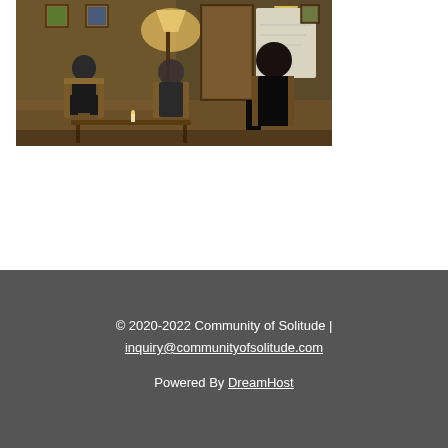[Figure (photo): Indoor group meeting scene with three people seated in chairs in a warmly lit room with lamps, artwork on walls, and a whiteboard visible in the background.]
© 2020-2022 Community of Solitude | inquiry@communityofsolitude.com
Powered By DreamHost